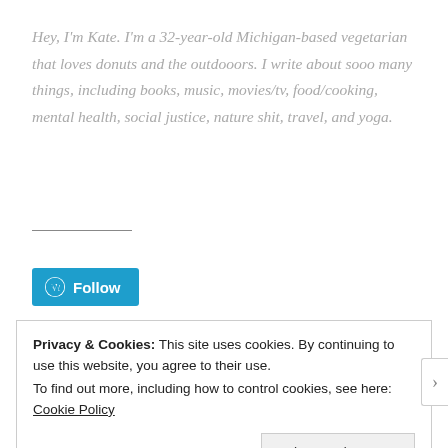Hey, I'm Kate. I'm a 32-year-old Michigan-based vegetarian that loves donuts and the outdooors. I write about sooo many things, including books, music, movies/tv, food/cooking, mental health, social justice, nature shit, travel, and yoga.
[Figure (other): WordPress Follow button with WordPress logo icon]
Privacy & Cookies: This site uses cookies. By continuing to use this website, you agree to their use.
To find out more, including how to control cookies, see here: Cookie Policy
Close and accept